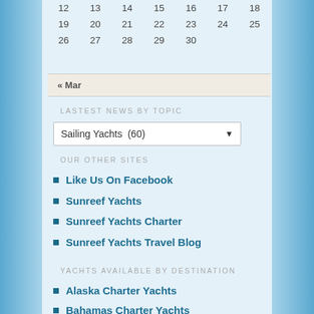| 12 | 13 | 14 | 15 | 16 | 17 | 18 |
| 19 | 20 | 21 | 22 | 23 | 24 | 25 |
| 26 | 27 | 28 | 29 | 30 |  |  |
| « Mar |  |
LASTEST NEWS BY TOPIC
Sailing Yachts  (60)
OUR OTHER SITES
Like Us On Facebook
Sunreef Yachts
Sunreef Yachts Charter
Sunreef Yachts Travel Blog
YACHTS AVAILABLE BY DESTINATION
Alaska Charter Yachts
Bahamas Charter Yachts
Caribbean Charter Yachts
Croatia Charter Yachts
Florida Charter Yachts